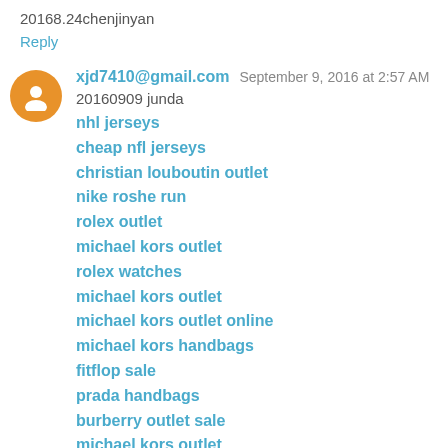20168.24chenjinyan
Reply
xjd7410@gmail.com  September 9, 2016 at 2:57 AM
20160909 junda
nhl jerseys
cheap nfl jerseys
christian louboutin outlet
nike roshe run
rolex outlet
michael kors outlet
rolex watches
michael kors outlet
michael kors outlet online
michael kors handbags
fitflop sale
prada handbags
burberry outlet sale
michael kors outlet
yeezy boost 350
coach outlet